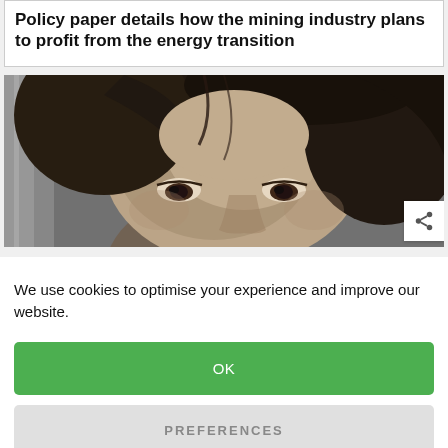Policy paper details how the mining industry plans to profit from the energy transition
[Figure (photo): Black and white close-up photograph of a person's face, appearing to be a woman with dark hair, looking slightly upward. A share icon button is overlaid at the bottom-right corner.]
We use cookies to optimise your experience and improve our website.
OK
PREFERENCES